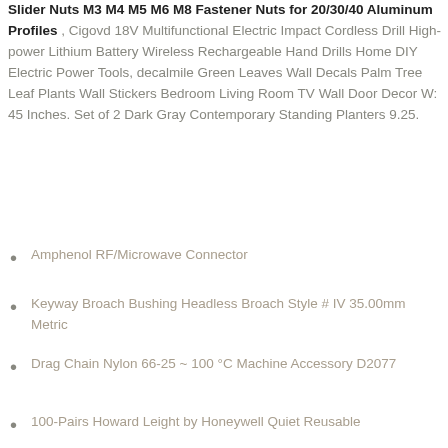Slider Nuts M3 M4 M5 M6 M8 Fastener Nuts for 20/30/40 Aluminum Profiles , Cigovd 18V Multifunctional Electric Impact Cordless Drill High-power Lithium Battery Wireless Rechargeable Hand Drills Home DIY Electric Power Tools, decalmile Green Leaves Wall Decals Palm Tree Leaf Plants Wall Stickers Bedroom Living Room TV Wall Door Decor W: 45 Inches. Set of 2 Dark Gray Contemporary Standing Planters 9.25.
Amphenol RF/Microwave Connector
Keyway Broach Bushing Headless Broach Style # IV 35.00mm Metric
Drag Chain Nylon 66-25 ~ 100 °C Machine Accessory D2077
100-Pairs Howard Leight by Honeywell Quiet Reusable